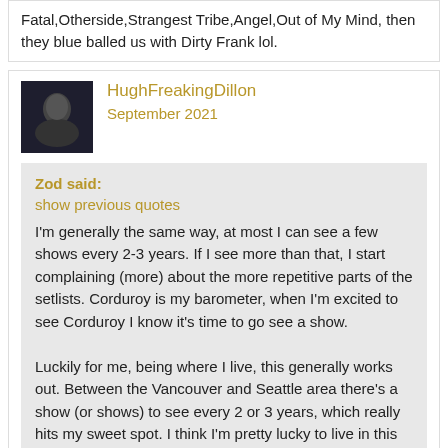Fatal,Otherside,Strangest Tribe,Angel,Out of My Mind, then they blue balled us with Dirty Frank lol.
HughFreakingDillon
September 2021
Zod said:
show previous quotes
I'm generally the same way, at most I can see a few shows every 2-3 years.  If I see more than that, I start complaining (more) about the more repetitive parts of the setlists.   Corduroy is my barometer, when I'm excited to see Corduroy I know it's time to go see a show.

Luckily for me, being where I live, this generally works out.  Between the Vancouver and Seattle area there's a show (or shows) to see every 2 or 3 years, which really hits my sweet spot.  I think I'm pretty lucky to live in this corner of the word with Vancouver and Seattle both being in a 3 to 5 hour travel distance from here.